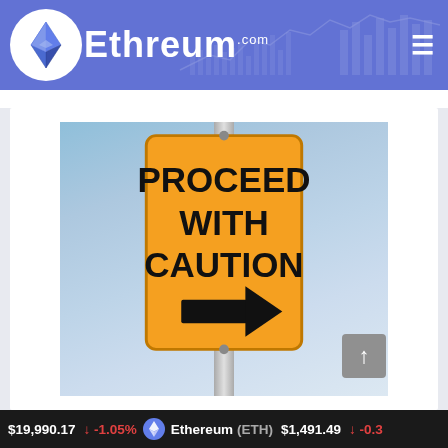Ethreum.com
[Figure (photo): Orange road sign reading 'PROCEED WITH CAUTION' with a right-pointing arrow, mounted on a metal pole against a blue sky background.]
$19,990.17  ↓ -1.05%   Ethereum (ETH)  $1,491.49  ↓ -0.3...